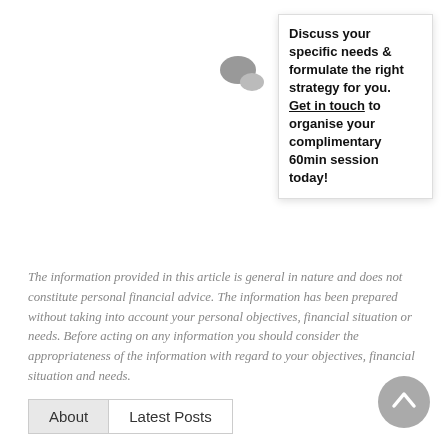[Figure (illustration): Chat bubble / speech bubble icon in grey]
Discuss your specific needs & formulate the right strategy for you. Get in touch to organise your complimentary 60min session today!
The information provided in this article is general in nature and does not constitute personal financial advice. The information has been prepared without taking into account your personal objectives, financial situation or needs. Before acting on any information you should consider the appropriateness of the information with regard to your objectives, financial situation and needs.
About   Latest Posts